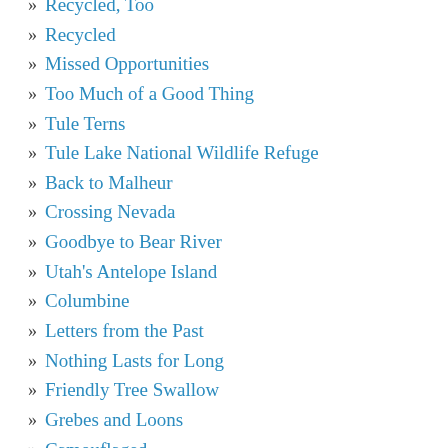» Recycled, Too
» Recycled
» Missed Opportunities
» Too Much of a Good Thing
» Tule Terns
» Tule Lake National Wildlife Refuge
» Back to Malheur
» Crossing Nevada
» Goodbye to Bear River
» Utah's Antelope Island
» Columbine
» Letters from the Past
» Nothing Lasts for Long
» Friendly Tree Swallow
» Grebes and Loons
» Camouflaged
» Pelicans Are Back